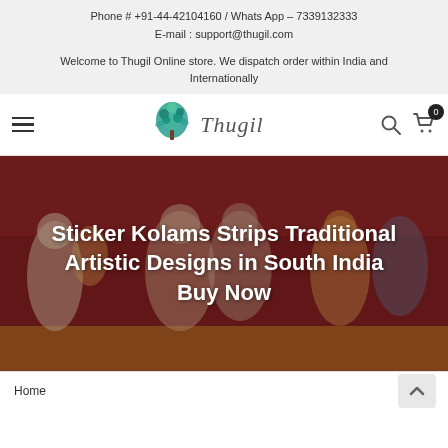Phone # +91-44-42104160 / Whats App – 7339132333
E-mail : support@thugil.com
Welcome to Thugil Online store. We dispatch order within India and Internationally
[Figure (logo): Thugil brand logo with teal/green peacock-tree illustration and italic serif text 'Thugil']
Sticker Kolams Strips Traditional Artistic Designs in South India Buy Now
Home